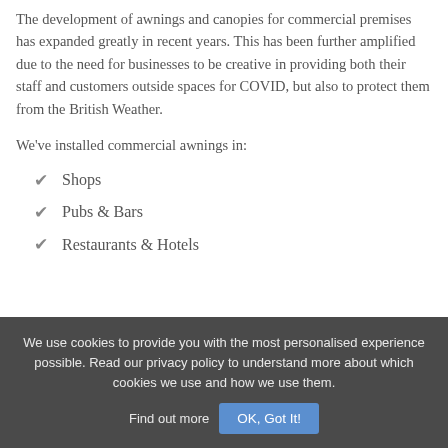The development of awnings and canopies for commercial premises has expanded greatly in recent years. This has been further amplified due to the need for businesses to be creative in providing both their staff and customers outside spaces for COVID, but also to protect them from the British Weather.
We've installed commercial awnings in:
Shops
Pubs & Bars
Restaurants & Hotels
We use cookies to provide you with the most personalised experience possible. Read our privacy policy to understand more about which cookies we use and how we use them. Find out more  OK, Got It!